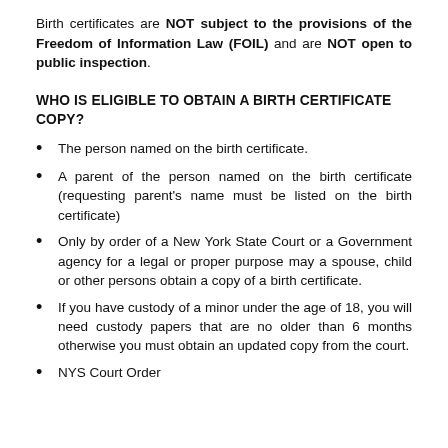Birth certificates are NOT subject to the provisions of the Freedom of Information Law (FOIL) and are NOT open to public inspection.
WHO IS ELIGIBLE TO OBTAIN A BIRTH CERTIFICATE COPY?
The person named on the birth certificate.
A parent of the person named on the birth certificate (requesting parent's name must be listed on the birth certificate)
Only by order of a New York State Court or a Government agency for a legal or proper purpose may a spouse, child or other persons obtain a copy of a birth certificate.
If you have custody of a minor under the age of 18, you will need custody papers that are no older than 6 months otherwise you must obtain an updated copy from the court.
NYS Court Order